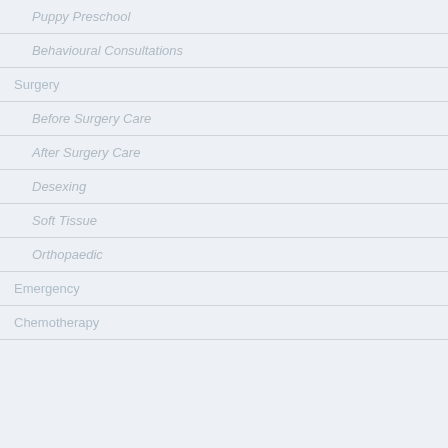Puppy Preschool
Behavioural Consultations
Surgery
Before Surgery Care
After Surgery Care
Desexing
Soft Tissue
Orthopaedic
Emergency
Chemotherapy